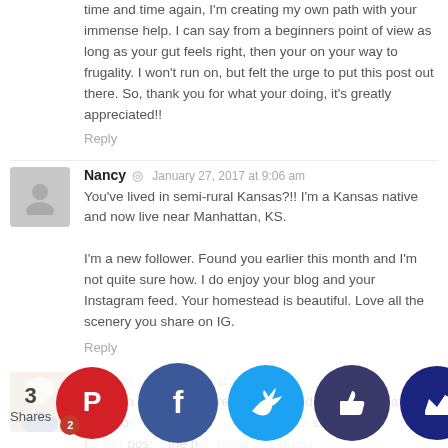time and time again, I'm creating my own path with your immense help. I can say from a beginners point of view as long as your gut feels right, then your on your way to frugality. I won't run on, but felt the urge to put this post out there. So, thank you for what your doing, it's greatly appreciated!!
Reply
[Figure (photo): Grey silhouette avatar placeholder for Nancy]
Nancy  January 27, 2017 at 9:06 am
You've lived in semi-rural Kansas?!! I'm a Kansas native and now live near Manhattan, KS.

I'm a new follower. Found you earlier this month and I'm not quite sure how. I do enjoy your blog and your Instagram feed. Your homestead is beautiful. Love all the scenery you share on IG.
Reply
[Figure (photo): Jean profile photo - woman with short light hair]
Jean  July 12, 2017 at 1:41 pm
This is a great post. It really resonated with me. Whatever our choices in life, it's our life, and our choices. I ... this post ... the ho...things, ...a frugal life...
[Figure (infographic): Social share buttons: Pinterest (2 shares), Facebook, Twitter, thumbs-up, crown. Share count: 3 Shares]